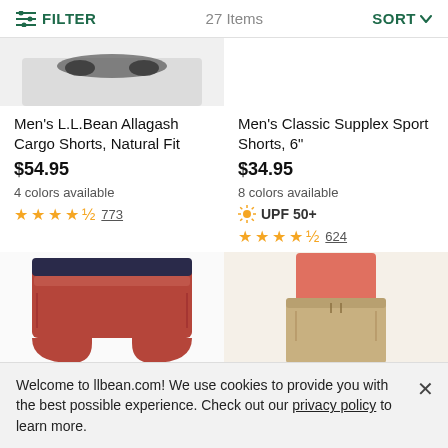FILTER  27 Items  SORT
[Figure (photo): Partial top view of Men's L.L.Bean Allagash Cargo Shorts showing waistband area on grey background]
[Figure (photo): Empty right panel for Men's Classic Supplex Sport Shorts]
Men's L.L.Bean Allagash Cargo Shorts, Natural Fit
$54.95
4 colors available
★★★★½ 773
Men's Classic Supplex Sport Shorts, 6"
$34.95
8 colors available
☀ UPF 50+
★★★★½ 624
[Figure (photo): Red/rust colored elastic waistband shorts laid flat]
[Figure (photo): Man wearing khaki/tan drawstring shorts with coral pink shirt]
Welcome to llbean.com! We use cookies to provide you with the best possible experience. Check out our privacy policy to learn more.